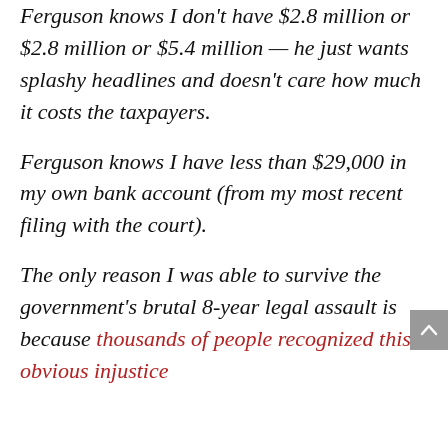Ferguson knows I don't have $2.8 million or $2.8 million or $5.4 million — he just wants splashy headlines and doesn't care how much it costs the taxpayers.
Ferguson knows I have less than $29,000 in my own bank account (from my most recent filing with the court).
The only reason I was able to survive the government's brutal 8-year legal assault is because thousands of people recognized this obvious injustice